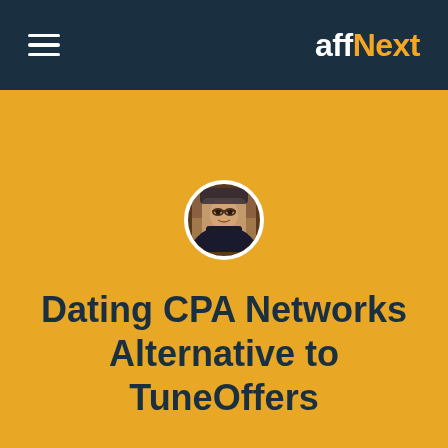affNext
[Figure (photo): Circular avatar photo of a person wearing glasses and a dark shirt, with a white circular border, set against a golden/amber background]
Dating CPA Networks Alternative to TuneOffers